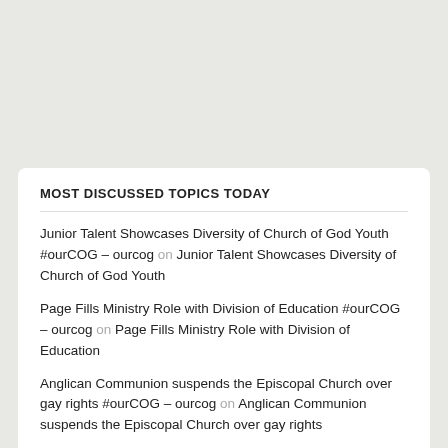MOST DISCUSSED TOPICS TODAY
Junior Talent Showcases Diversity of Church of God Youth #ourCOG – ourcog on Junior Talent Showcases Diversity of Church of God Youth
Page Fills Ministry Role with Division of Education #ourCOG – ourcog on Page Fills Ministry Role with Division of Education
Anglican Communion suspends the Episcopal Church over gay rights #ourCOG – ourcog on Anglican Communion suspends the Episcopal Church over gay rights
It's time! Fall is almost here 😊😊😊 #ourCOG – ourcog on It's time! Fall is almost here 😊😊😊